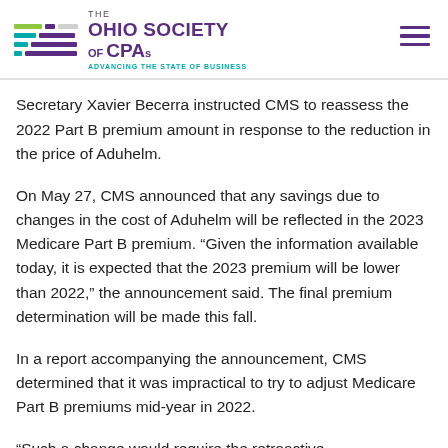THE OHIO SOCIETY OF CPAs — ADVANCING THE STATE OF BUSINESS
Secretary Xavier Becerra instructed CMS to reassess the 2022 Part B premium amount in response to the reduction in the price of Aduhelm.
On May 27, CMS announced that any savings due to changes in the cost of Aduhelm will be reflected in the 2023 Medicare Part B premium. “Given the information available today, it is expected that the 2023 premium will be lower than 2022,” the announcement said. The final premium determination will be made this fall.
In a report accompanying the announcement, CMS determined that it was impractical to try to adjust Medicare Part B premiums mid-year in 2022.
“Such a change would require the retroactive